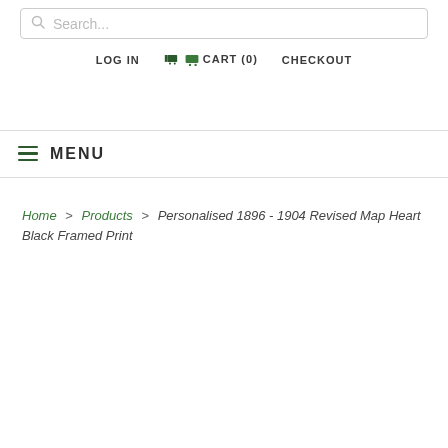Search...
LOG IN  CART (0)  CHECKOUT
≡ MENU
Home > Products > Personalised 1896 - 1904 Revised Map Heart Black Framed Print